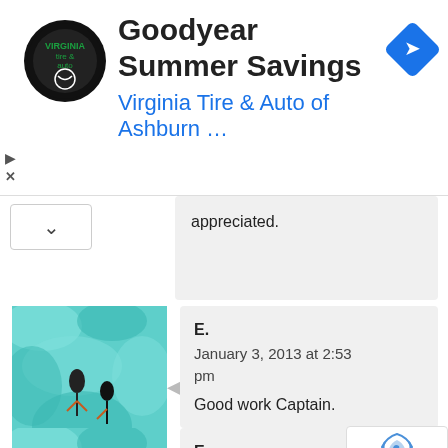[Figure (screenshot): Goodyear Summer Savings ad banner with Virginia Tire & Auto of Ashburn logo and navigation icon]
appreciated.
[Figure (illustration): Artistic avatar image with teal and white swirling pattern with figures]
E.
January 3, 2013 at 2:53 pm
Good work Captain.
[Figure (illustration): Artistic avatar image with teal and white swirling pattern with figures]
E.
January 3, 2013 at 2:51 pm
Well let's hope the U.S. gov. already knows about